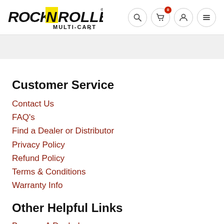[Figure (logo): Rock N Roller Multi-Cart logo with black bold italic text and yellow N letter]
[Figure (other): Navigation icons: search, cart with 0 badge, user, menu]
Customer Service
Contact Us
FAQ's
Find a Dealer or Distributor
Privacy Policy
Refund Policy
Terms & Conditions
Warranty Info
Other Helpful Links
Become A Dealer!